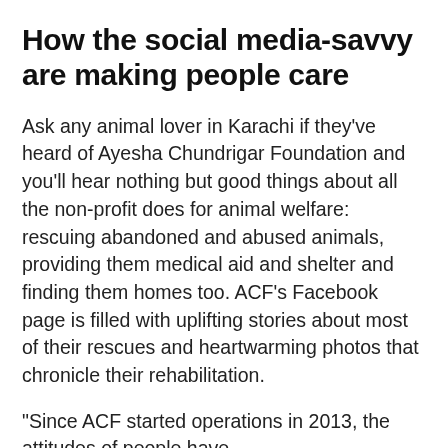How the social media-savvy are making people care
Ask any animal lover in Karachi if they've heard of Ayesha Chundrigar Foundation and you'll hear nothing but good things about all the non-profit does for animal welfare: rescuing abandoned and abused animals, providing them medical aid and shelter and finding them homes too. ACF's Facebook page is filled with uplifting stories about most of their rescues and heartwarming photos that chronicle their rehabilitation.
"Since ACF started operations in 2013, the attitudes of people have...